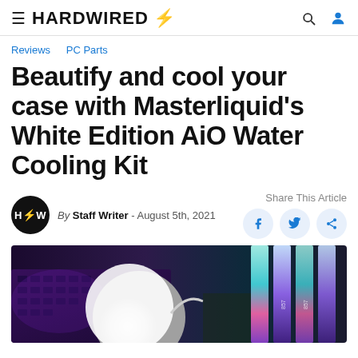≡ HARDWIRED⚡
Reviews  PC Parts
Beautify and cool your case with Masterliquid's White Edition AiO Water Cooling Kit
By Staff Writer - August 5th, 2021
Share This Article
[Figure (photo): Close-up photo of a white AiO water cooler pump head on a PC motherboard with RGB RAM sticks and keyboard in the background, purple and teal lighting]